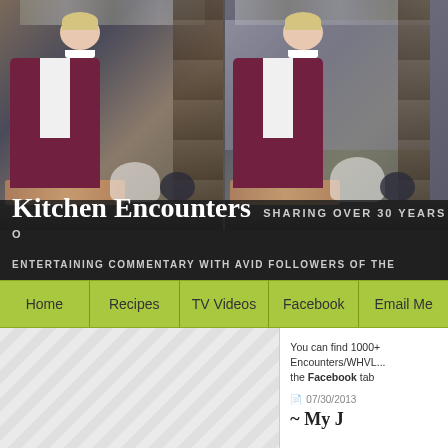[Figure (photo): Header banner showing a woman in a dark red/maroon blazer standing in a kitchen, repeated twice side by side, with cookware and shelves in background]
Kitchen Encounters   SHARING OVER 30 YEARS O...
ENTERTAINING COMMENTARY WITH AVID FOLLOWERS OF THE...
Home | Recipes | TV Videos | Facebook | Email Me
You can find 1000+ Encounters/WHVL... the Facebook tab
07/30/2013
~ My J...